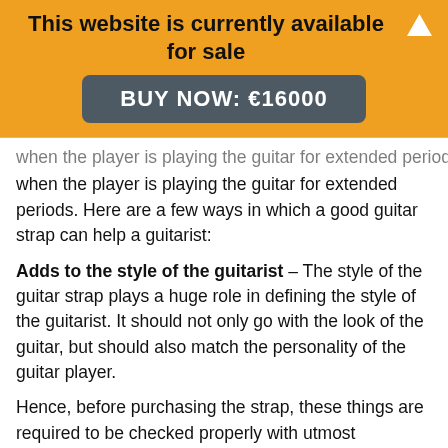This website is currently available for sale
BUY NOW: €16000
when the player is playing the guitar for extended periods. Here are a few ways in which a good guitar strap can help a guitarist:
Adds to the style of the guitarist – The style of the guitar strap plays a huge role in defining the style of the guitarist. It should not only go with the look of the guitar, but should also match the personality of the guitar player.
Hence, before purchasing the strap, these things are required to be checked properly with utmost importance.
If the style does not match with the guitar, it will not give a proper look to the guitarist while playing the guitar. This might